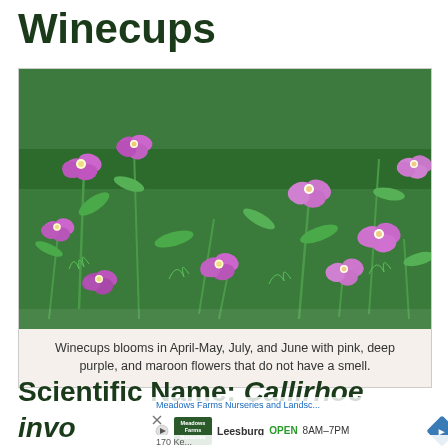Winecups
[Figure (photo): Close-up photograph of Winecups (Callirhoe) flowers blooming among green foliage. Pink to light purple cup-shaped flowers with white centers scattered throughout lush green stems and leaves.]
Winecups blooms in April-May, July, and June with pink, deep purple, and maroon flowers that do not have a smell.
Scientific Name: Callirhoe involucrata